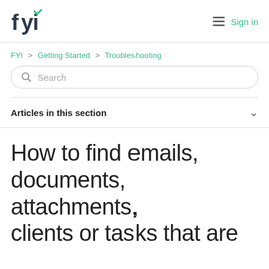fyi  Sign in
FYI > Getting Started > Troubleshooting
Search
Articles in this section
How to find emails, documents, attachments, clients or tasks that are